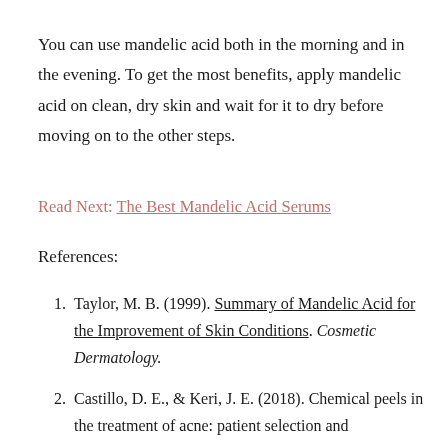You can use mandelic acid both in the morning and in the evening. To get the most benefits, apply mandelic acid on clean, dry skin and wait for it to dry before moving on to the other steps.
Read Next: The Best Mandelic Acid Serums
References:
1. Taylor, M. B. (1999). Summary of Mandelic Acid for the Improvement of Skin Conditions. Cosmetic Dermatology.
2. Castillo, D. E., & Keri, J. E. (2018). Chemical peels in the treatment of acne: patient selection and